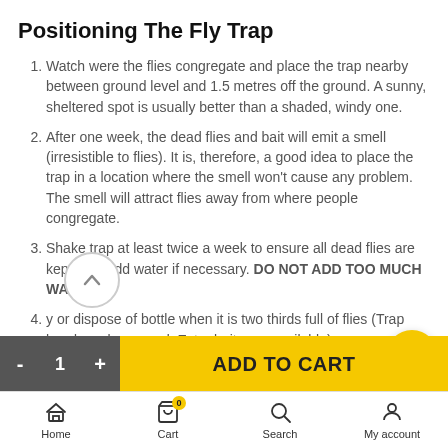Positioning The Fly Trap
Watch were the flies congregate and place the trap nearby between ground level and 1.5 metres off the ground. A sunny, sheltered spot is usually better than a shaded, windy one.
After one week, the dead flies and bait will emit a smell (irresistible to flies). It is, therefore, a good idea to place the trap in a location where the smell won't cause any problem. The smell will attract flies away from where people congregate.
Shake trap at least twice a week to ensure all dead flies are kept wet. Add water if necessary. DO NOT ADD TOO MUCH WATER.
y or dispose of bottle when it is two thirds full of flies (Trap head can be reused. Extra baits are available)
- 1 + ADD TO CART | Home | Cart | Search | My account